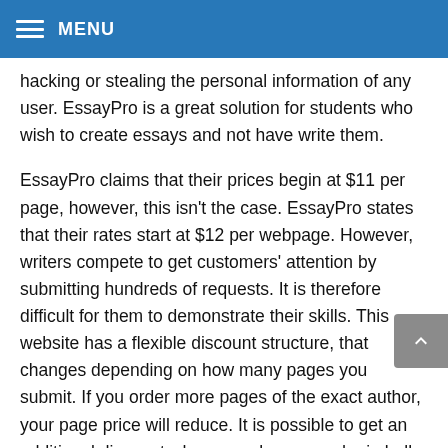MENU
hacking or stealing the personal information of any user. EssayPro is a great solution for students who wish to create essays and not have write them.
EssayPro claims that their prices begin at $11 per page, however, this isn't the case. EssayPro states that their rates start at $12 per webpage. However, writers compete to get customers' attention by submitting hundreds of requests. It is therefore difficult for them to demonstrate their skills. This website has a flexible discount structure, that changes depending on how many pages you submit. If you order more pages of the exact author, your page price will reduce. It is possible to get an additional discount when you place an order in bulk for additional pages.
EssayPro provides a reasonable price and a high-quality service. Their writers are meticulous, and they rigorously check their credentials as